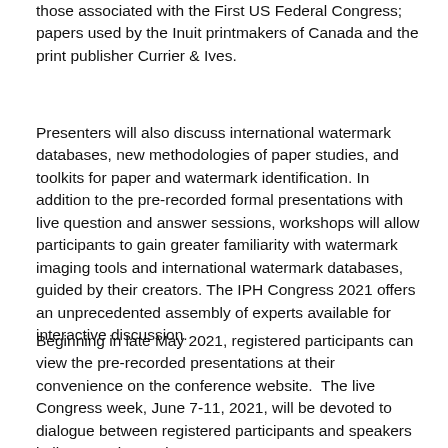those associated with the First US Federal Congress; papers used by the Inuit printmakers of Canada and the print publisher Currier & Ives.
Presenters will also discuss international watermark databases, new methodologies of paper studies, and toolkits for paper and watermark identification. In addition to the pre-recorded formal presentations with live question and answer sessions, workshops will allow participants to gain greater familiarity with watermark imaging tools and international watermark databases, guided by their creators. The IPH Congress 2021 offers an unprecedented assembly of experts available for interactive discussion.
Beginning in late May 2021, registered participants can view the pre-recorded presentations at their convenience on the conference website. The live Congress week, June 7-11, 2021, will be devoted to dialogue between registered participants and speakers in live question and answer